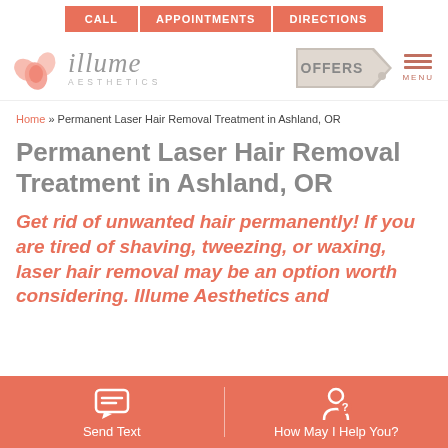CALL | APPOINTMENTS | DIRECTIONS
[Figure (logo): Illume Aesthetics logo with flower icon, OFFERS tag button, and hamburger MENU icon]
Home » Permanent Laser Hair Removal Treatment in Ashland, OR
Permanent Laser Hair Removal Treatment in Ashland, OR
Get rid of unwanted hair permanently! If you are tired of shaving, tweezing, or waxing, laser hair removal may be an option worth considering. Illume Aesthetics and
Send Text | How May I Help You?